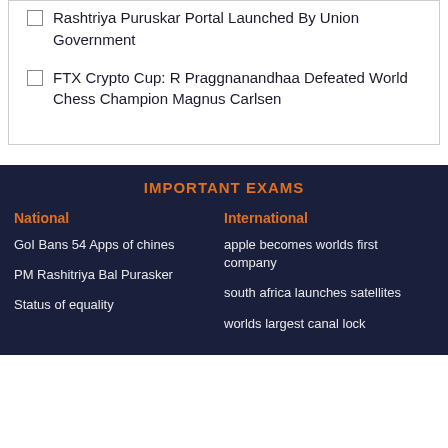Rashtriya Puruskar Portal Launched By Union Government
FTX Crypto Cup: R Praggnanandhaa Defeated World Chess Champion Magnus Carlsen
IMPORTANT EXAMS
National
International
GoI Bans 54 Apps of chines
apple becomes worlds first company
PM Rashitriya Bal Purasker
south africa launches satellites
Status of equality
worlds largest canal lock